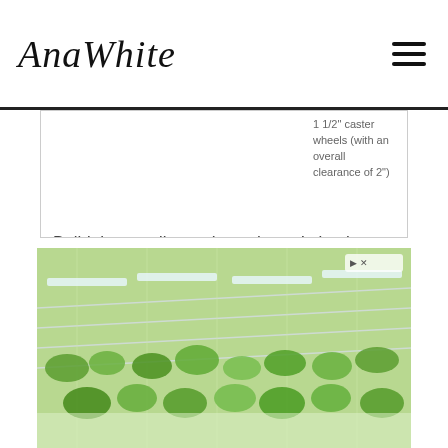AnaWhite
1 1/2" caster wheels (with an overall clearance of 2")
Build the trundle as shown here. I simple screwed the plywood to the bottom with a countersink bit and 2" screws and glue.
Notch out the handles if desired.
For the caster wheels - I added only four and it's fine, but for a heavier load, you may consider adding another in the center.
[Figure (photo): Advertisement banner showing a greenhouse with plants/produce under grow lights]